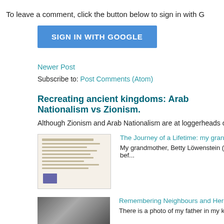To leave a comment, click the button below to sign in with G
[Figure (screenshot): Blue 'SIGN IN WITH GOOGLE' button]
Newer Post
Subscribe to: Post Comments (Atom)
Recreating ancient kingdoms: Arab Nationalism vs Zionism.
Although Zionism and Arab Nationalism are at loggerheads over Palestine (or p
[Figure (photo): Thumbnail of a document/passport]
The Journey of a Lifetime: my grandmother's escape on the T
My grandmother, Betty Löwenstein (maiden name Ehrlich), e bef...
[Figure (photo): Black and white photo of a man]
Remembering Neighbours and Here We Are
There is a photo of my father in my kitchen, it shows him in th